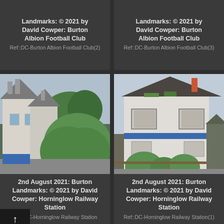Landmarks: © 2021 by David Cowper: Burton Albion Football Club
Ref::DC-Burton Albion Football Club(2)
Landmarks: © 2021 by David Cowper: Burton Albion Football Club
Ref::DC-Burton Albion Football Club(3)
[Figure (photo): Photograph of an old white stone building with chimneys and a large rounded topiary hedge in front, taken in Burton on 2nd August 2021.]
2nd August 2021: Burton Landmarks: © 2021 by David Cowper: Horninglow Railway Station
Ref::DC-Horninglow Railway Station
[Figure (photo): Photograph of an old white rendered building with dark thatched-style roof and rounded trimmed hedges in front, taken in Burton on 2nd August 2021.]
2nd August 2021: Burton Landmarks: © 2021 by David Cowper: Horninglow Railway Station
Ref::DC-Horninglow Railway Station(1)